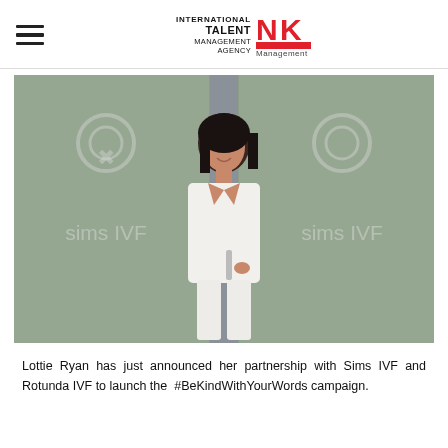INTERNATIONAL TALENT MANAGEMENT AGENCY NK Management
[Figure (photo): Woman in white blazer and white trousers smiling while holding open a glass door at Sims IVF clinic, with the Sims IVF logo visible on the glass doors.]
Lottie Ryan has just announced her partnership with Sims IVF and Rotunda IVF to launch the  #BeKindWithYourWords campaign.